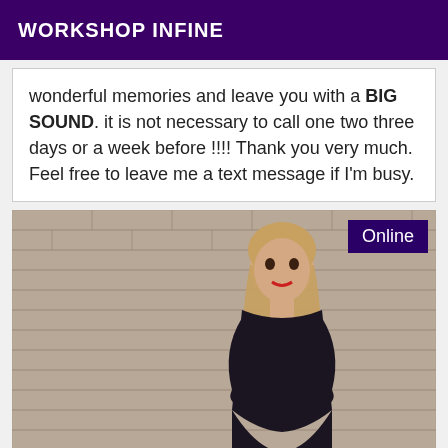WORKSHOP INFINE
wonderful memories and leave you with a BIG SOUND. it is not necessary to call one two three days or a week before !!!! Thank you very much. Feel free to leave me a text message if I'm busy.
[Figure (photo): A woman with long straight hair wearing a dark lace dress, posing in front of a brick wall background. An 'Online' badge appears in the top right corner of the photo.]